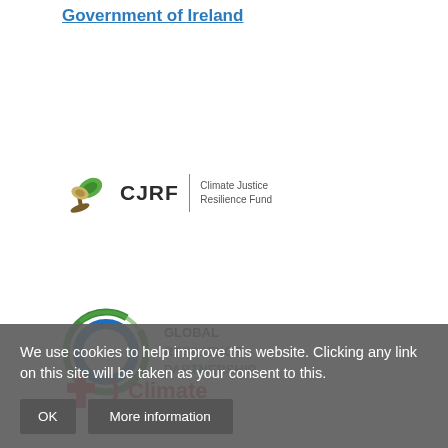Government of Ireland
[Figure (logo): CJRF Climate Justice Resilience Fund logo with leaf icon]
[Figure (logo): Global Resilience Partnership logo with circular icon]
[Figure (logo): Red Cross Climate (partial logo visible)]
We use cookies to help improve this website. Clicking any link on this site will be taken as your consent to this.
OK
More information